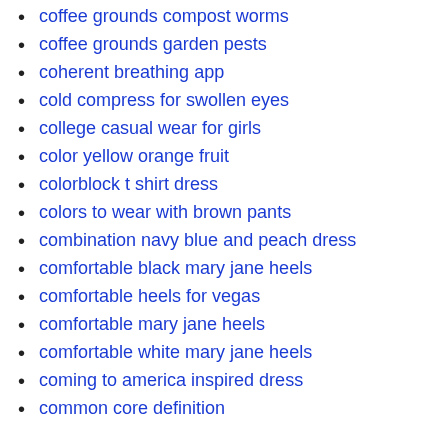coffee grounds compost worms
coffee grounds garden pests
coherent breathing app
cold compress for swollen eyes
college casual wear for girls
color yellow orange fruit
colorblock t shirt dress
colors to wear with brown pants
combination navy blue and peach dress
comfortable black mary jane heels
comfortable heels for vegas
comfortable mary jane heels
comfortable white mary jane heels
coming to america inspired dress
common core definition